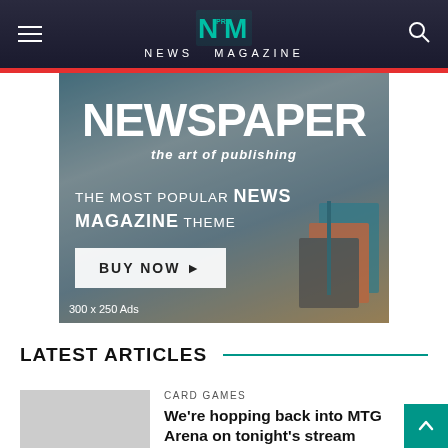NEWS MAGAZINE
[Figure (screenshot): Advertisement banner for Newspaper WordPress theme: large bold text 'NEWSPAPER', tagline 'the art of publishing', copy 'THE MOST POPULAR NEWS MAGAZINE THEME', BUY NOW button, books and glasses in background. Label: 300 x 250 Ads]
LATEST ARTICLES
CARD GAMES
We're hopping back into MTG Arena on tonight's stream